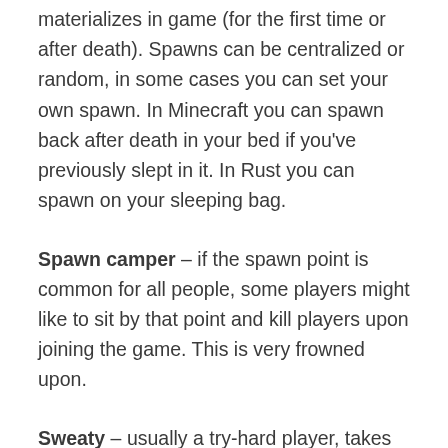materializes in game (for the first time or after death). Spawns can be centralized or random, in some cases you can set your own spawn. In Minecraft you can spawn back after death in your bed if you've previously slept in it. In Rust you can spawn on your sleeping bag.
Spawn camper – if the spawn point is common for all people, some players might like to sit by that point and kill players upon joining the game. This is very frowned upon.
Sweaty – usually a try-hard player, takes the